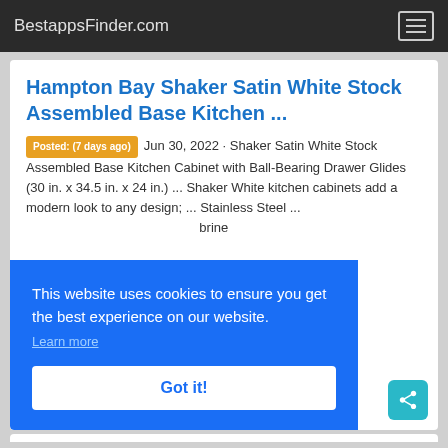BestappsFinder.com
Hampton Bay Shaker Satin White Stock Assembled Base Kitchen ...
Posted: (7 days ago) Jun 30, 2022 · Shaker Satin White Stock Assembled Base Kitchen Cabinet with Ball-Bearing Drawer Glides (30 in. x 34.5 in. x 24 in.) ... Shaker White kitchen cabinets add a modern look to any design; ... Stainless Steel ... brine ... in-
This website uses cookies to ensure you get the best experience on our website.
Learn more
Got it!